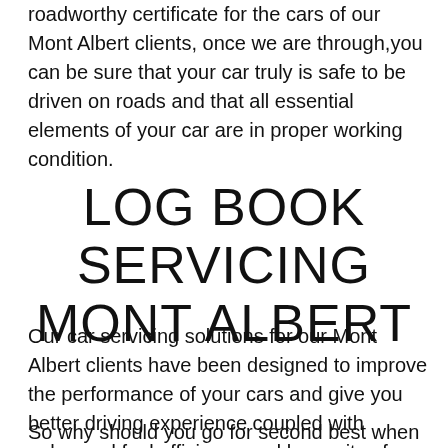roadworthy certificate for the cars of our Mont Albert clients, once we are through,you can be sure that your car truly is safe to be driven on roads and that all essential elements of your car are in proper working condition.
LOG BOOK SERVICING MONT ALBERT
Our car servicing solutions for our Mont Albert clients have been designed to improve the performance of your cars and give you better driving experience coupled with enhanced fuel efficiency and longevity of your cars   lives.
So why should you go for second best when AAA Automotive